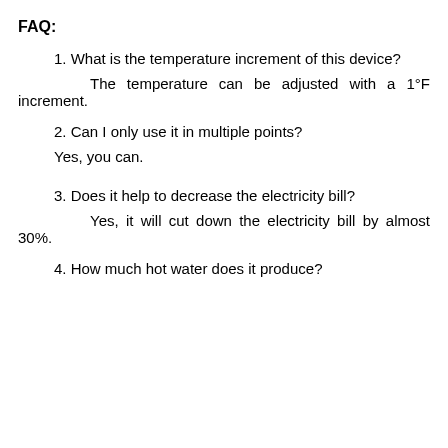FAQ:
1. What is the temperature increment of this device?
The temperature can be adjusted with a 1°F increment.
2. Can I only use it in multiple points?
Yes, you can.
3. Does it help to decrease the electricity bill?
Yes, it will cut down the electricity bill by almost 30%.
4. How much hot water does it produce?